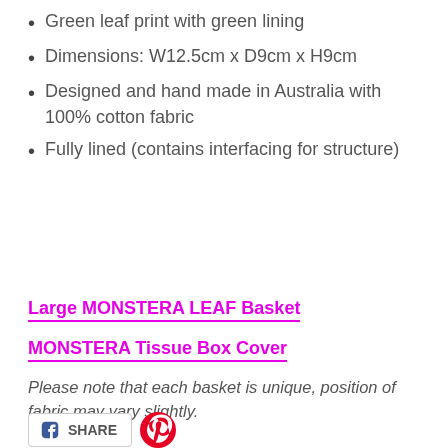Green leaf print with green lining
Dimensions: W12.5cm x D9cm x H9cm
Designed and hand made in Australia with 100% cotton fabric
Fully lined (contains interfacing for structure)
Large MONSTERA LEAF Basket
MONSTERA Tissue Box Cover
Please note that each basket is unique, position of fabric may vary slightly.